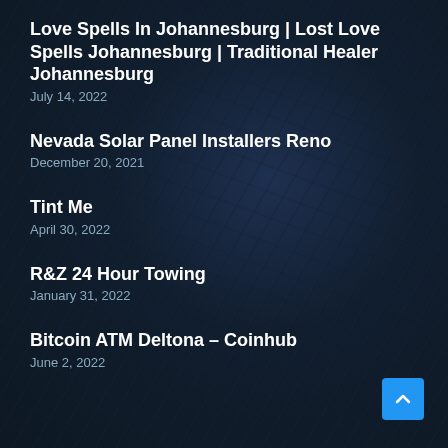Love Spells In Johannesburg | Lost Love Spells Johannesburg | Traditional Healer Johannesburg
July 14, 2022
Nevada Solar Panel Installers Reno
December 20, 2021
Tint Me
April 30, 2022
R&Z 24 Hour Towing
January 31, 2022
Bitcoin ATM Deltona – Coinhub
June 2, 2022